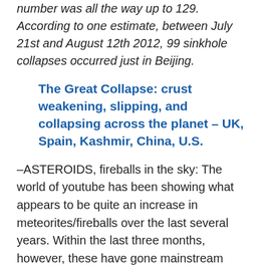number was all the way up to 129. According to one estimate, between July 21st and August 12th 2012, 99 sinkhole collapses occurred just in Beijing.
The Great Collapse: crust weakening, slipping, and collapsing across the planet – UK, Spain, Kashmir, China, U.S.
–ASTEROIDS, fireballs in the sky: The world of youtube has been showing what appears to be quite an increase in meteorites/fireballs over the last several years. Within the last three months, however, these have gone mainstream media:
Newfound Asteroid Buzzes Earth Inside Moon's Orbit — Asteroid 2012 XE54 was discovered in December just two days before passing Earth inside the moon's orbit;